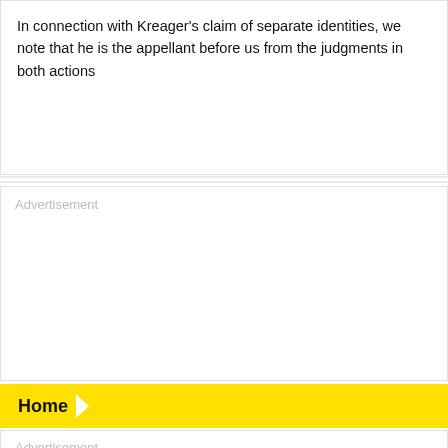In connection with Kreager's claim of separate identities, we note that he is the appellant before us from the judgments in both actions
[Figure (other): Advertisement placeholder box with label 'Advertisement' and two horizontal divider lines inside]
Home
[Figure (other): Advertisement placeholder box with label 'Advertisement']
[Figure (other): Gray area at the bottom of the page]